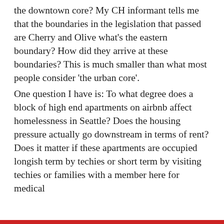the downtown core? My CH informant tells me that the boundaries in the legislation that passed are Cherry and Olive what's the eastern boundary? How did they arrive at these boundaries? This is much smaller than what most people consider 'the urban core'.
One question I have is: To what degree does a block of high end apartments on airbnb affect homelessness in Seattle? Does the housing pressure actually go downstream in terms of rent? Does it matter if these apartments are occupied longish term by techies or short term by visiting techies or families with a member here for medical